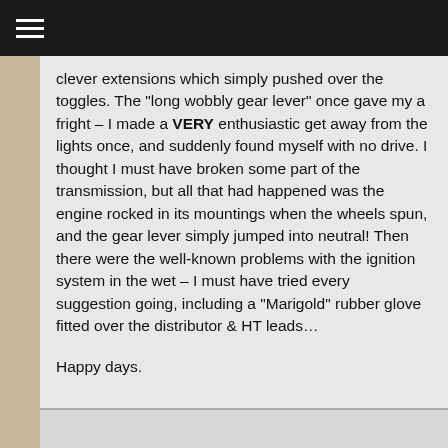≡
clever extensions which simply pushed over the toggles. The "long wobbly gear lever" once gave my a fright – I made a VERY enthusiastic get away from the lights once, and suddenly found myself with no drive. I thought I must have broken some part of the transmission, but all that had happened was the engine rocked in its mountings when the wheels spun, and the gear lever simply jumped into neutral! Then there were the well-known problems with the ignition system in the wet – I must have tried every suggestion going, including a "Marigold" rubber glove fitted over the distributor & HT leads...
Happy days.
Reply ↓